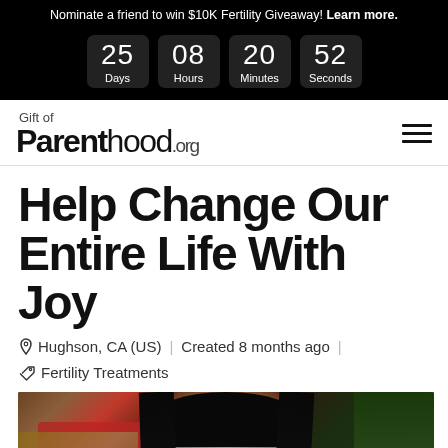Nominate a friend to win $10K Fertility Giveaway! Learn more.
[Figure (infographic): Countdown timer showing 25 Days, 08 Hours, 20 Minutes, 52 Seconds on black background]
Gift of Parenthood.org
Help Change Our Entire Life With Joy
Hughson, CA (US) | Created 8 months ago |
Fertility Treatments
[Figure (photo): Photo of a woman with long black hair wearing a red and black plaid flannel shirt, outdoors with burlap and greenery in background]